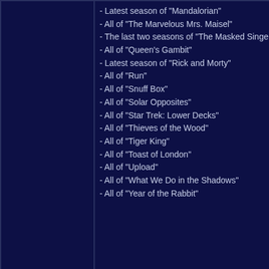- Latest season of "Mandalorian"
- All of "The Marvelous Mrs. Maisel"
- The last two seasons of "The Masked Singer"
- All of "Queen's Gambit"
- Latest season of "Rick and Morty"
- All of "Run"
- All of "Snuff Box"
- All of "Solar Opposites"
- All of "Star Trek: Lower Decks"
- All of "Thieves of the Wood"
- All of "Tiger King"
- All of "Toast of London"
- All of "Upload"
- All of "What We Do in the Shadows"
- All of "Year of the Rabbit"
Rogue
Posts: 11826/11900
Binge-watched the "Watchmen" series HBO put out. It was OK. I was a huge fan of the graphic novel and I actually liked the movie Snyder did (obviously it's VERY flawed 🙂), but the show was like watching fan fiction. Decent fan fiction, but I kept going, "Is Alan Moore OK with these plot points? Eh, most likely not."
Rogue
Posts: 11825/11900
Yep, watched "The Witcher" as well a couple weeks back. I liked it, and bummer about the long wait. Par for the course these days, what with "Rick and Morty" only pumping out new seasons a couple years between.